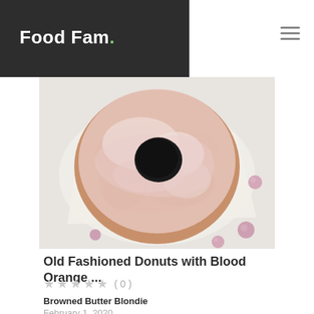Food Fam.
[Figure (photo): Overhead view of a glazed old fashioned donut with pink/white glaze on white parchment paper, with small pink candy spheres scattered around]
Old Fashioned Donuts with Blood Orange ...
( 0 )
Browned Butter Blondie
February 1, 2020